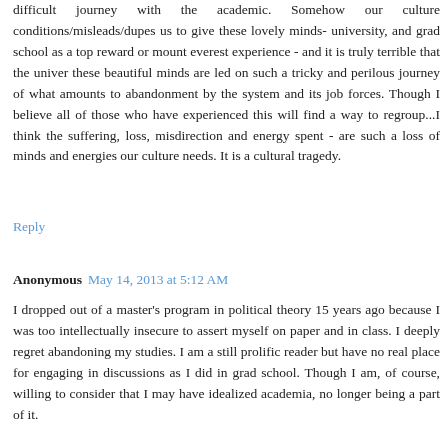difficult journey with the academic. Somehow our culture conditions/misleads/dupes us to give these lovely minds- university, and grad school as a top reward or mount everest experience - and it is truly terrible that the univer these beautiful minds are led on such a tricky and perilous journey of what amounts to abandonment by the system and its job forces. Though I believe all of those who have experienced this will find a way to regroup...I think the suffering, loss, misdirection and energy spent - are such a loss of minds and energies our culture needs. It is a cultural tragedy.
Reply
Anonymous May 14, 2013 at 5:12 AM
I dropped out of a master's program in political theory 15 years ago because I was too intellectually insecure to assert myself on paper and in class. I deeply regret abandoning my studies. I am a still prolific reader but have no real place for engaging in discussions as I did in grad school. Though I am, of course, willing to consider that I may have idealized academia, no longer being a part of it.